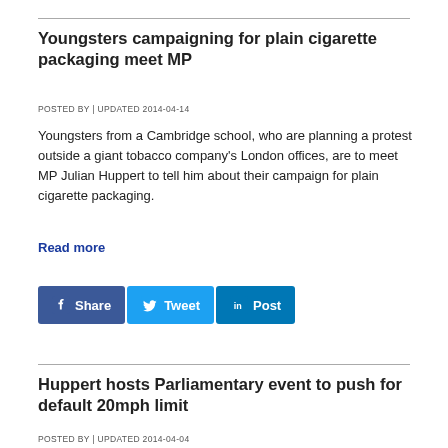Youngsters campaigning for plain cigarette packaging meet MP
POSTED BY | UPDATED 2014-04-14
Youngsters from a Cambridge school, who are planning a protest outside a giant tobacco company's London offices, are to meet MP Julian Huppert to tell him about their campaign for plain cigarette packaging.
Read more
[Figure (other): Social sharing buttons: Facebook Share, Tweet, LinkedIn Post]
Huppert hosts Parliamentary event to push for default 20mph limit
POSTED BY | UPDATED 2014-04-04